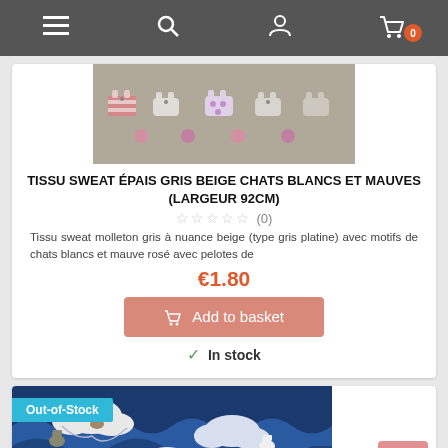Navigation bar with menu, search, account, and cart (0 items) icons
[Figure (photo): Product image: grey fabric with white and pink/mauve cats pattern]
TISSU SWEAT ÉPAIS GRIS BEIGE CHATS BLANCS ET MAUVES (LARGEUR 92CM)
☆☆☆☆☆ (0)
Tissu sweat molleton gris à nuance beige (type gris platine) avec motifs de chats blancs et mauve rosé avec pelotes de
€1.80
Add to basket
✓ In stock
[Figure (photo): Product image: blue Japanese-style fabric with waves, clouds, and cats]
Out-of-Stock